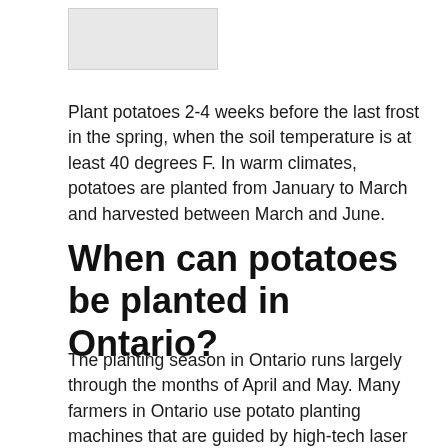[Figure (photo): Small image placeholder in upper left area]
Plant potatoes 2-4 weeks before the last frost in the spring, when the soil temperature is at least 40 degrees F. In warm climates, potatoes are planted from January to March and harvested between March and June.
When can potatoes be planted in Ontario?
The planting season in Ontario runs largely through the months of April and May. Many farmers in Ontario use potato planting machines that are guided by high-tech laser sensors to keep the rows straight and seed potatoes planted uniformly.